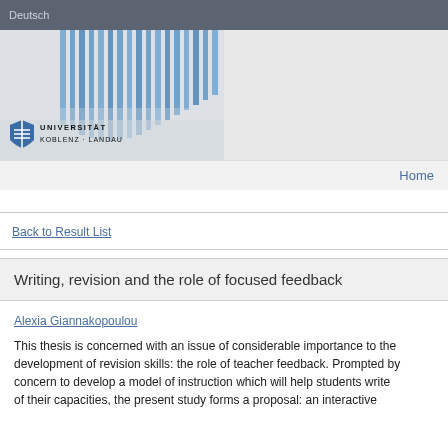Deutsch
[Figure (photo): University building facade with blue vertical columns/fins, and Universität Koblenz·Landau logo]
Home
Back to Result List
Writing, revision and the role of focused feedback
Alexia Giannakopoulou
This thesis is concerned with an issue of considerable importance to the development of revision skills: the role of teacher feedback. Prompted by a concern to develop a model of instruction which will help students write to the best of their capacities, the present study forms a proposal: an interactive